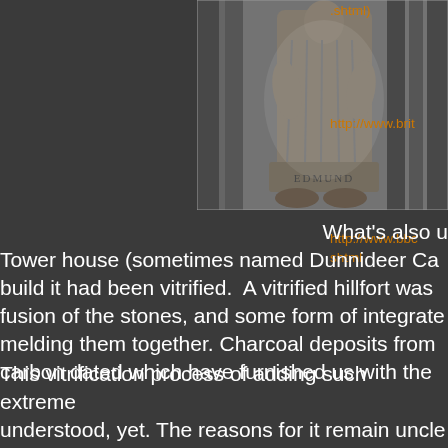[Figure (photo): Stone statue of a robed figure (likely medieval or ecclesiastical) with text 'EDMUND' on the plinth base, flanked by carved columns, in black and white or sepia tone.]
.shtml)
http://www.brit
http://www.bbc.shtml
What's also u Tower house (sometimes named Dunnideer Ca build it had been vitrified. A vitrified hillfort was fusion of the stones, and some form of integrate melding them together. Charcoal deposits from carbon dated which have furnished us with the
This vitrification process of adding such extreme understood, yet. The reasons for it remain uncle the 'heat' process was done to strengthen the b theory is that vitrification took place after a cli